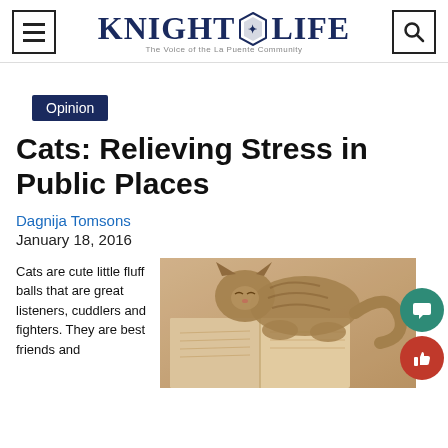KNIGHT LIFE — The Voice of the La Puente Community
Opinion
Cats: Relieving Stress in Public Places
Dagnija Tomsons
January 18, 2016
Cats are cute little fluff balls that are great listeners, cuddlers and fighters. They are best friends and
[Figure (photo): A tabby cat resting on an open book, sepia-toned photograph]